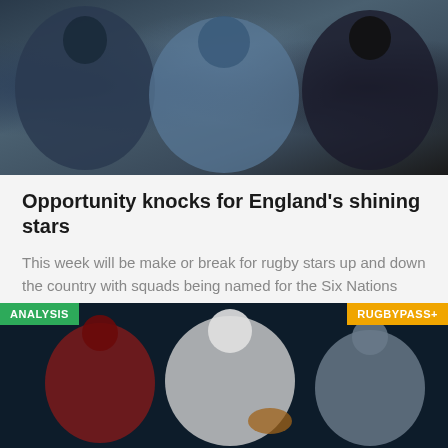[Figure (photo): Rugby players collage image showing three players in action, dark background]
Opportunity knocks for England's shining stars
This week will be make or break for rugby stars up and down the country with squads being named for the Six Nations and a few play...
Garry Doyle  Jamie Lyall  Owain Jones
17 Jan, 10:41
[Figure (photo): Rugby players in action, ANALYSIS badge top-left in green, RUGBYPASS+ badge top-right in orange/yellow]